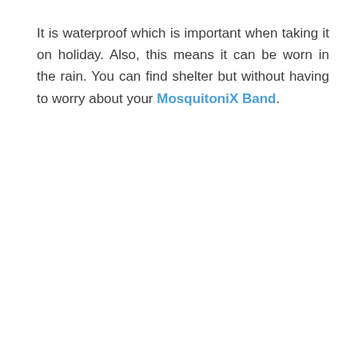It is waterproof which is important when taking it on holiday. Also, this means it can be worn in the rain. You can find shelter but without having to worry about your MosquitoniX Band.